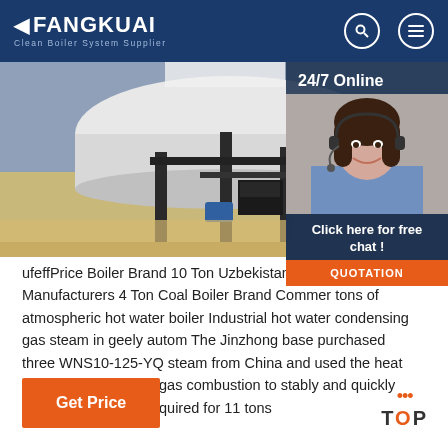FANGKUAI Clean Boiler System Supplier
[Figure (photo): Industrial boiler equipment in a facility, with dark metal framing and large cylindrical tank]
[Figure (photo): Customer service agent woman with headset, 24/7 Online overlay with Click here for free chat and QUOTATION button]
ufeffPrice Boiler Brand 10 Ton Uzbekistan - cocc Manufacturers 4 Ton Coal Boiler Brand Commer tons of atmospheric hot water boiler Industrial hot water condensing gas steam in geely autom The Jinzhong base purchased three WNS10-125-YQ steam from China and used the heat generated by natural gas combustion to stably and quickly produce the steam required for 11 tons
Get Price